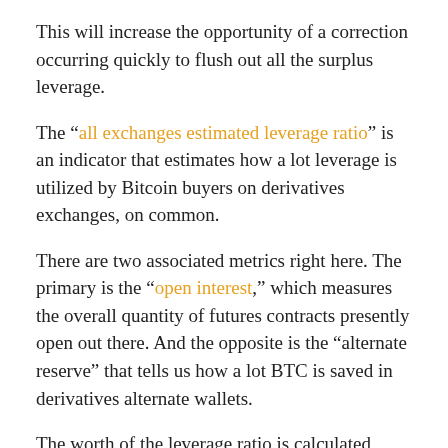This will increase the opportunity of a correction occurring quickly to flush out all the surplus leverage.
The “all exchanges estimated leverage ratio” is an indicator that estimates how a lot leverage is utilized by Bitcoin buyers on derivatives exchanges, on common.
There are two associated metrics right here. The primary is the “open interest,” which measures the overall quantity of futures contracts presently open out there. And the opposite is the “alternate reserve” that tells us how a lot BTC is saved in derivatives alternate wallets.
The worth of the leverage ratio is calculated because the open curiosity divided by the alternate reserve. With the assistance of this metric, it turns into potential to inform whether or not buyers are presently taking low threat or excessive threat.